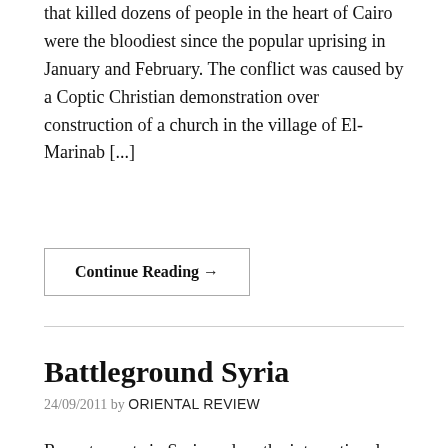that killed dozens of people in the heart of Cairo were the bloodiest since the popular uprising in January and February. The conflict was caused by a Coptic Christian demonstration over construction of a church in the village of El-Marinab [...]
Continue Reading →
Battleground Syria
24/09/2011 by ORIENTAL REVIEW
Recent events in Syria and on the international scene clearly show that President Bashar Assad is destined to be the next "bloody dictator" overthrown by his own people for the sake of restoring democracy, freedom, equality, and other dubious